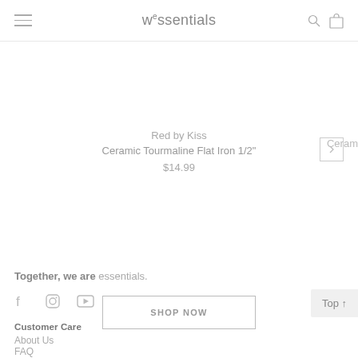wessentials
Red by Kiss
Ceramic Tourmaline Flat Iron 1/2"
$14.99
Ceram
Together, we are essentials.
[Figure (other): Social media icons: Facebook, Instagram, YouTube]
Customer Care
About Us
FAQ
SHOP NOW
Top ↑